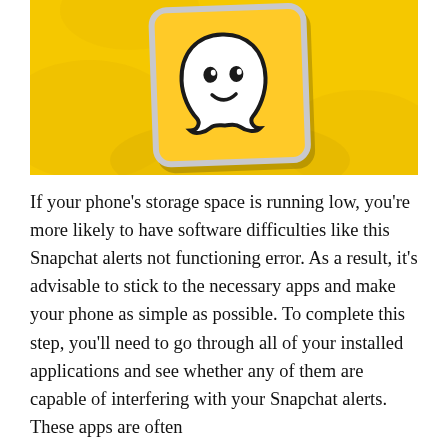[Figure (photo): A smartphone displaying the Snapchat ghost logo app icon on a yellow background, resting on a yellow fabric/shirt.]
If your phone's storage space is running low, you're more likely to have software difficulties like this Snapchat alerts not functioning error. As a result, it's advisable to stick to the necessary apps and make your phone as simple as possible. To complete this step, you'll need to go through all of your installed applications and see whether any of them are capable of interfering with your Snapchat alerts. These apps are often